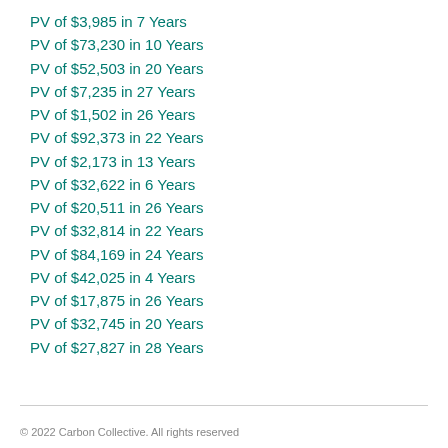PV of $3,985 in 7 Years
PV of $73,230 in 10 Years
PV of $52,503 in 20 Years
PV of $7,235 in 27 Years
PV of $1,502 in 26 Years
PV of $92,373 in 22 Years
PV of $2,173 in 13 Years
PV of $32,622 in 6 Years
PV of $20,511 in 26 Years
PV of $32,814 in 22 Years
PV of $84,169 in 24 Years
PV of $42,025 in 4 Years
PV of $17,875 in 26 Years
PV of $32,745 in 20 Years
PV of $27,827 in 28 Years
© 2022 Carbon Collective. All rights reserved